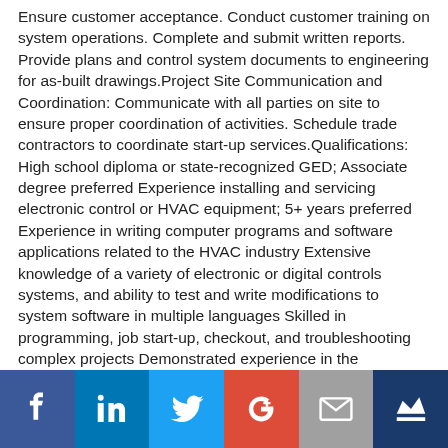Ensure customer acceptance. Conduct customer training on system operations. Complete and submit written reports. Provide plans and control system documents to engineering for as-built drawings.Project Site Communication and Coordination: Communicate with all parties on site to ensure proper coordination of activities. Schedule trade contractors to coordinate start-up services.Qualifications: High school diploma or state-recognized GED; Associate degree preferred Experience installing and servicing electronic control or HVAC equipment; 5+ years preferred Experience in writing computer programs and software applications related to the HVAC industry Extensive knowledge of a variety of electronic or digital controls systems, and ability to test and write modifications to system software in multiple languages Skilled in programming, job start-up, checkout, and troubleshooting complex projects Demonstrated experience in the integration of low-voltage building sub-systems using various industry protocols such as BACNet, N2, Modbus, etc. Ability to work in a variety of circumstances,
[Figure (infographic): Social media sharing bar with six icons: Facebook (blue), LinkedIn (blue), Twitter (light blue), Google+ (red), Email/envelope (grey), Crown/bookmark (dark blue)]